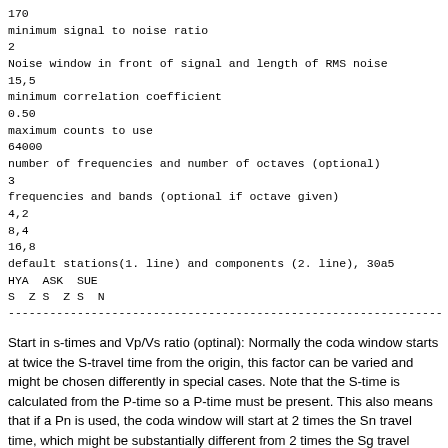170
minimum signal to noise ratio
2
Noise window in front of signal and length of RMS noise
15,5
minimum correlation coefficient
0.50
maximum counts to use
64000
number of frequencies and number of octaves (optional)
3
frequencies and bands (optional if octave given)
4,2
8,4
16,8
default stations(1. line) and components (2. line), 30a5
HYA  ASK  SUE
S  Z S  Z S  N
---------------------------------------------------------------
Start in s-times and Vp/Vs ratio (optinal): Normally the coda window starts at twice the S-travel time from the origin, this factor can be varied and might be chosen differently in special cases. Note that the S-time is calculated from the P-time so a P-time must be present. This also means that if a Pn is used, the coda window will start at 2 times the Sn travel time, which might be substantially different from 2 times the Sg travel time. e S-time is calcualted from the P-time using and Vp/Vs = 1.78. Optionally,